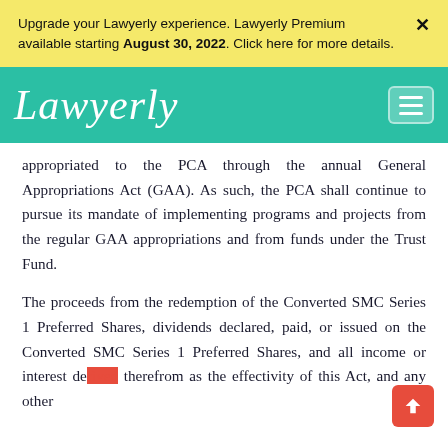Upgrade your Lawyerly experience. Lawyerly Premium available starting August 30, 2022. Click here for more details.
Lawyerly
appropriated to the PCA through the annual General Appropriations Act (GAA). As such, the PCA shall continue to pursue its mandate of implementing programs and projects from the regular GAA appropriations and from funds under the Trust Fund.
The proceeds from the redemption of the Converted SMC Series 1 Preferred Shares, dividends declared, paid, or issued on the Converted SMC Series 1 Preferred Shares, and all income or interest derived therefrom as the effectivity of this Act, and any other